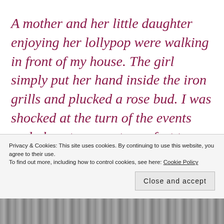A mother and her little daughter enjoying her lollypop were walking in front of my house. The girl simply put her hand inside the iron grills and plucked a rose bud. I was shocked at the turn of the events and almost sprang to my feet to go out and teach the little girl a
Privacy & Cookies: This site uses cookies. By continuing to use this website, you agree to their use.
To find out more, including how to control cookies, see here: Cookie Policy
Close and accept
[Figure (photo): Bottom strip showing partial photo, appears to be a person]